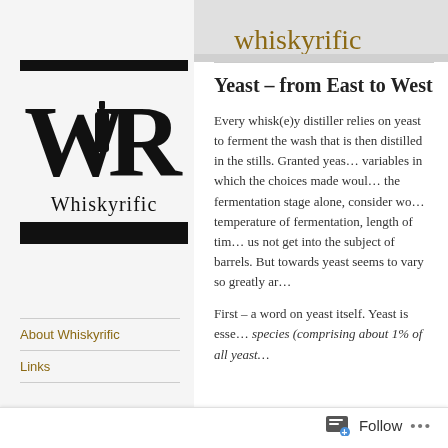[Figure (logo): Whiskyrific logo with WR letters, bottle silhouette, and black bars]
About Whiskyrific
Links
whiskyrific
Yeast – from East to West
Every whisk(e)y distiller relies on yeast to ferment the wash that is then distilled in the stills. Granted yeast is one of those variables in which the choices made would vastly differ. At the fermentation stage alone, consider wo… temperature of fermentation, length of tim… us not get into the subject of barrels. But towards yeast seems to vary so greatly ar…
First – a word on yeast itself. Yeast is esse… species (comprising about 1% of all yeast…
Follow  ···